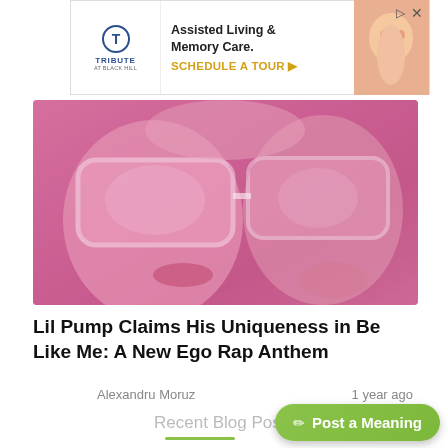[Figure (screenshot): Advertisement banner for Tribute at Black Hill Assisted Living & Memory Care with logo and 'Schedule a Tour' CTA]
[Figure (photo): Pink-tinted close-up photo of person wearing large white/pink sunglasses, face partially visible with dramatic lighting]
Lil Pump Claims His Uniqueness in Be Like Me: A New Ego Rap Anthem
Alexandru Moruz
1 year ago
Recent Blog Posts
Post a Meaning